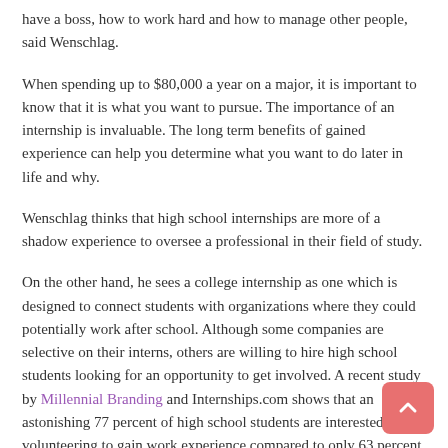have a boss, how to work hard and how to manage other people, said Wenschlag.
When spending up to $80,000 a year on a major, it is important to know that it is what you want to pursue. The importance of an internship is invaluable. The long term benefits of gained experience can help you determine what you want to do later in life and why.
Wenschlag thinks that high school internships are more of a shadow experience to oversee a professional in their field of study.
On the other hand, he sees a college internship as one which is designed to connect students with organizations where they could potentially work after school. Although some companies are selective on their interns, others are willing to hire high school students looking for an opportunity to get involved. A recent study by Millennial Branding and Internships.com shows that an astonishing 77 percent of high school students are interested in volunteering to gain work experience compared to only 63 percent of college students.